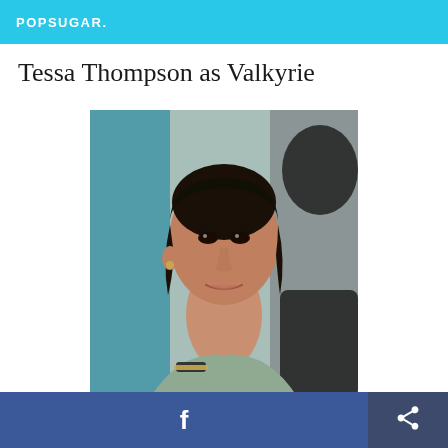POPSUGAR.
Tessa Thompson as Valkyrie
[Figure (photo): Portrait photo of Tessa Thompson (actress who plays Valkyrie), with dark hair pulled back, wearing a light green/mint off-shoulder dress with a gold buckle strap detail. She is photographed against a blurred teal and gray background.]
[Figure (other): Bottom navigation bar with Facebook share button (blue) and a general share/export button (dark blue).]